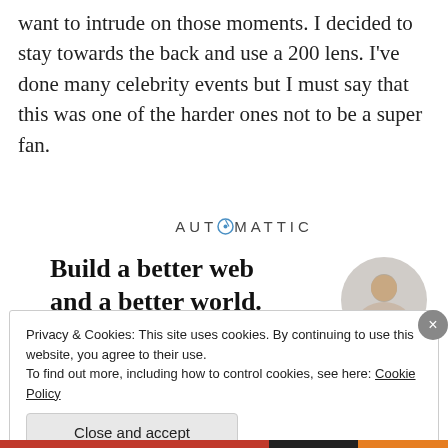want to intrude on those moments. I decided to stay towards the back and use a 200 lens. I've done many celebrity events but I must say that this was one of the harder ones not to be a super fan.
[Figure (logo): Automattic company logo with the text AUTOMATTIC in uppercase spaced letters, with a circular compass-like icon replacing the letter O]
[Figure (infographic): Automattic advertisement with bold headline 'Build a better web and a better world.' with a blue Apply button and a circular photo of a man thinking]
Privacy & Cookies: This site uses cookies. By continuing to use this website, you agree to their use.
To find out more, including how to control cookies, see here: Cookie Policy
Close and accept